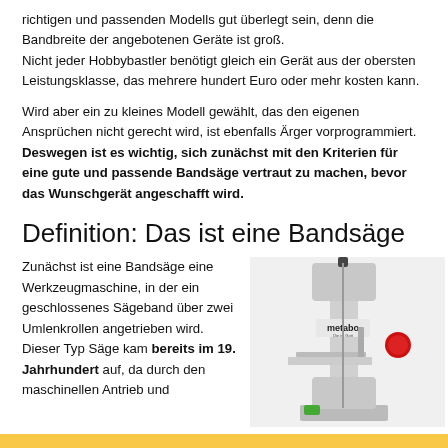richtigen und passenden Modells gut überlegt sein, denn die Bandbreite der angebotenen Geräte ist groß. Nicht jeder Hobbybastler benötigt gleich ein Gerät aus der obersten Leistungsklasse, das mehrere hundert Euro oder mehr kosten kann.
Wird aber ein zu kleines Modell gewählt, das den eigenen Ansprüchen nicht gerecht wird, ist ebenfalls Ärger vorprogrammiert. Deswegen ist es wichtig, sich zunächst mit den Kriterien für eine gute und passende Bandsäge vertraut zu machen, bevor das Wunschgerät angeschafft wird.
Definition: Das ist eine Bandsäge
Zunächst ist eine Bandsäge eine Werkzeugmaschine, in der ein geschlossenes Sägeband über zwei Umlenkrollen angetrieben wird. Dieser Typ Säge kam bereits im 19. Jahrhundert auf, da durch den maschinellen Antrieb und
[Figure (photo): Photo of a Metabo band saw machine, grey metal body with red stop button, on a white background]